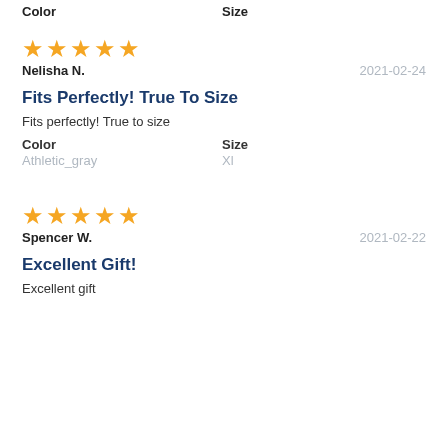Color	Size
★★★★★
Nelisha N.    2021-02-24
Fits Perfectly! True To Size
Fits perfectly! True to size
Color
Athletic_gray
Size
Xl
★★★★★
Spencer W.    2021-02-22
Excellent Gift!
Excellent gift